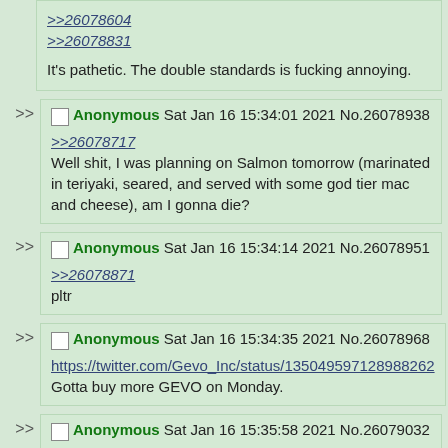>>26078604
>>26078831

It's pathetic. The double standards is fucking annoying.
Anonymous Sat Jan 16 15:34:01 2021 No.26078938
>>26078717
Well shit, I was planning on Salmon tomorrow (marinated in teriyaki, seared, and served with some god tier mac and cheese), am I gonna die?
Anonymous Sat Jan 16 15:34:14 2021 No.26078951
>>26078871
pltr
Anonymous Sat Jan 16 15:34:35 2021 No.26078968
https://twitter.com/Gevo_Inc/status/135049597128988262
Gotta buy more GEVO on Monday.
Anonymous Sat Jan 16 15:35:58 2021 No.26079032